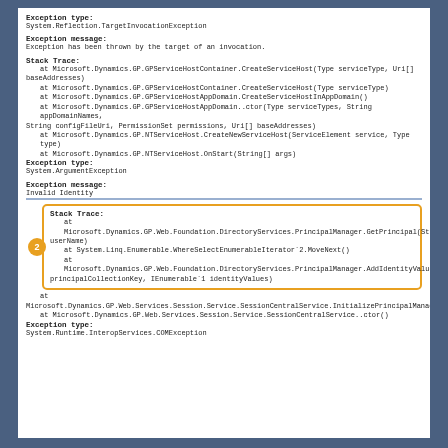Exception type:
System.Reflection.TargetInvocationException
Exception message:
Exception has been thrown by the target of an invocation.
Stack Trace:
   at Microsoft.Dynamics.GP.GPServiceHostContainer.CreateServiceHost(Type serviceType, Uri[] baseAddresses)
   at Microsoft.Dynamics.GP.GPServiceHostContainer.CreateServiceHost(Type serviceType)
   at Microsoft.Dynamics.GP.GPServiceHostAppDomain.CreateServiceHostInAppDomain()
   at Microsoft.Dynamics.GP.GPServiceHostAppDomain..ctor(Type serviceTypes, String appDomainNames, String configFileUri, PermissionSet permissions, Uri[] baseAddresses)
   at Microsoft.Dynamics.GP.NTServiceHost.CreateNewServiceHost(ServiceElement service, Type type)
   at Microsoft.Dynamics.GP.NTServiceHost.OnStart(String[] args)
Exception type:
System.ArgumentException
Exception message:
Invalid Identity
Stack Trace:
   at Microsoft.Dynamics.GP.Web.Foundation.DirectoryServices.PrincipalManager.GetPrincipal(String userName)
   at System.Linq.Enumerable.WhereSelectEnumerableIterator`2.MoveNext()
   at Microsoft.Dynamics.GP.Web.Foundation.DirectoryServices.PrincipalManager.AddIdentityValues(String principalCollectionKey, IEnumerable`1 identityValues)
at
Microsoft.Dynamics.GP.Web.Services.Session.Service.SessionCentralService.InitializePrincipalManager()
   at Microsoft.Dynamics.GP.Web.Services.Session.Service.SessionCentralService..ctor()
Exception type:
System.Runtime.InteropServices.COMException